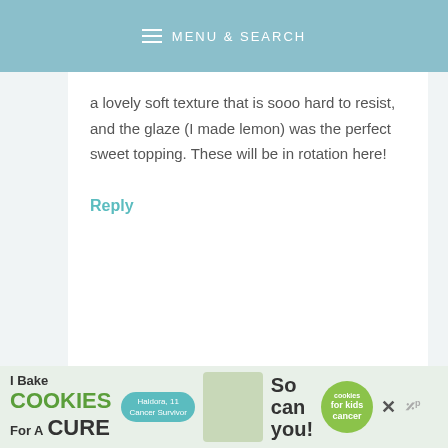MENU & SEARCH
a lovely soft texture that is sooo hard to resist, and the glaze (I made lemon) was the perfect sweet topping. These will be in rotation here!
Reply
Tracy says
[Figure (infographic): Advertisement banner: I Bake COOKIES For A CURE with Haldora, 11 Cancer Survivor. So can you! Cookies for Kids Cancer logo. Close button and Mediavine logo.]